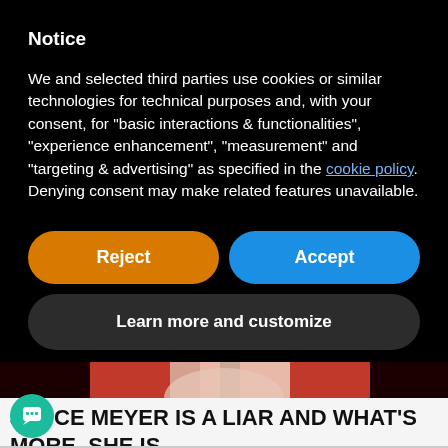Notice
We and selected third parties use cookies or similar technologies for technical purposes and, with your consent, for “basic interactions & functionalities”, “experience enhancement”, “measurement” and “targeting & advertising” as specified in the cookie policy. Denying consent may make related features unavailable.
Reject
Accept
Learn more and customize
[Figure (photo): Bottom portion of a person wearing red clothing, partially visible at top of lower section]
JOYCE MEYER IS A LIAR AND WHAT’S MORE, SHE IS [MAKI]NG GOD A LIAR.